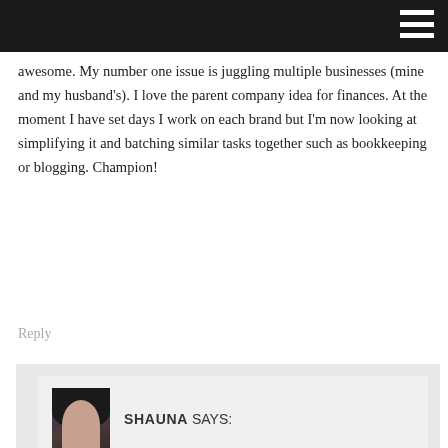awesome. My number one issue is juggling multiple businesses (mine and my husband's). I love the parent company idea for finances. At the moment I have set days I work on each brand but I'm now looking at simplifying it and batching similar tasks together such as bookkeeping or blogging. Champion!
Reply
SHAUNA SAYS:
November 7, 2013 at 10:10 am
Kate Dyer: I loved getting to chat with you this weekend — we have a lot in common on the business front! For me, batching has been a lifesaver, especially when it comes to running multiple businesses. I do posts for both blogs at once, check